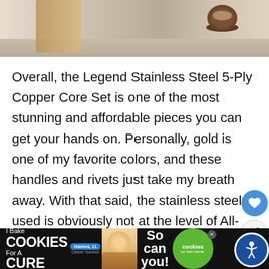[Figure (photo): Top portion of a food/kitchen photo showing wooden objects on a light wooden surface, partially cropped at the top of the page]
Overall, the Legend Stainless Steel 5-Ply Copper Core Set is one of the most stunning and affordable pieces you can get your hands on. Personally, gold is one of my favorite colors, and these handles and rivets just take my breath away. With that said, the stainless steel used is obviously not at the level of All-Clad, but as a mid-range copper cookware set, this product is surely one of the best.
[Figure (screenshot): Advertisement banner: 'I Bake COOKIES For A CURE' with Haidora, 11 Cancer Survivor, and 'So can you!' with cookies for kids cancer green badge]